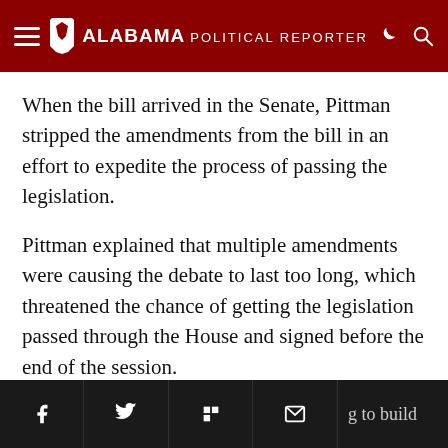Alabama Political Reporter
When the bill arrived in the Senate, Pittman stripped the amendments from the bill in an effort to expedite the process of passing the legislation.
Pittman explained that multiple amendments were causing the debate to last too long, which threatened the chance of getting the legislation passed through the House and signed before the end of the session.
“Every time this bill has ever come up, we’ve always been able to put that [gambling prohibition] in there…Now that its about to pass, it’s not in there,” said John Rice, a lobbyist against the bill.
Social share bar: Facebook, Twitter, Flipboard, Email, g to build